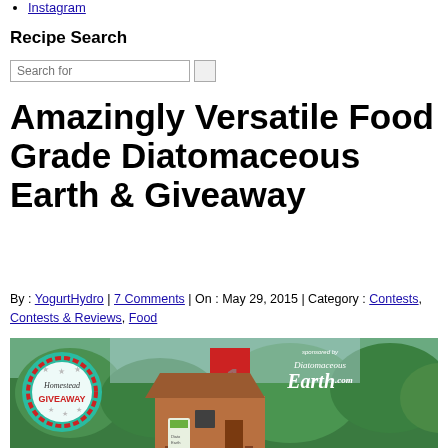Instagram
Recipe Search
Search for [search box]
Amazingly Versatile Food Grade Diatomaceous Earth & Giveaway
By : YogurtHydro | 7 Comments | On : May 29, 2015 | Category : Contests, Contests & Reviews, Food
[Figure (photo): Homestead Giveaway promotional image featuring a teal badge with 'Homestead GIVEAWAY' text and stars, a wooden chicken coop structure with a red ribbon, a bag of Diatomaceous Earth product, and 'sponsored by DiatomaceousEarth.com' logo in the top right, set against a green outdoor background.]